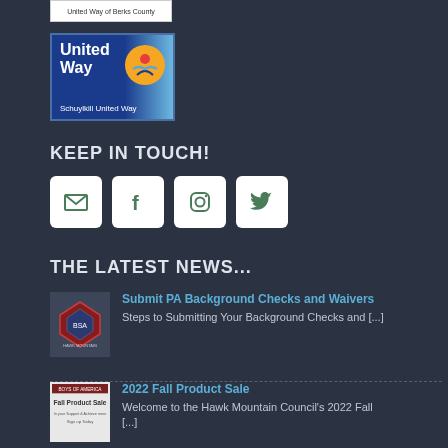[Figure (logo): United Way of Berks County logo strip at top]
[Figure (logo): Schuylkill United Way logo with blue background and circular sun/person icon]
KEEP IN TOUCH!
[Figure (infographic): Four social media icon buttons: email, Facebook, Instagram, Twitter]
THE LATEST NEWS...
[Figure (logo): Boy Scouts of America Hawk Mountain Council logo thumbnail]
Submit PA Background Checks and Waivers
Steps to Submitting Your Background Checks and [...]
[Figure (screenshot): 2022 Fall Product Sale thumbnail image]
2022 Fall Product Sale
Welcome to the Hawk Mountain Council's 2022 Fall [...]